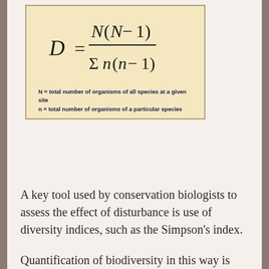[Figure (math-figure): Simpson's Diversity Index formula: D = N(N-1) / Σn(n-1), with notes that N = total number of organisms of all species at a given site, n = total number of organisms of a particular species]
A key tool used by conservation biologists to assess the effect of disturbance is use of diversity indices, such as the Simpson's index.
Quantification of biodiversity in this way is important to conservation efforts so that areas of high biodiversity are identified, explored, and appropriate conservation put in place where possible.
Areas that are high in biodiversity are known as hotspots. They contain large numbers of endemic species (species not found anywhere else), and so measures of biodiversity are